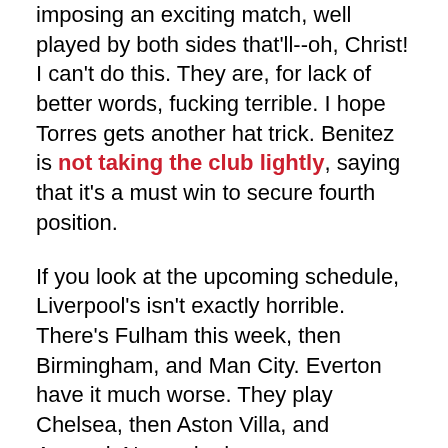imposing an exciting match, well played by both sides that'll--oh, Christ! I can't do this. They are, for lack of better words, fucking terrible. I hope Torres gets another hat trick. Benitez is not taking the club lightly, saying that it's a must win to secure fourth position.
If you look at the upcoming schedule, Liverpool's isn't exactly horrible. There's Fulham this week, then Birmingham, and Man City. Everton have it much worse. They play Chelsea, then Aston Villa, and Arsenal. Now, who has a worse schedule than Everton? Chelsea.
The Blues are going to have to make a choice. With the problems on and off the field with players, I do not think that Avram Grant has the resources to chase the league title as well as the Champions League. After